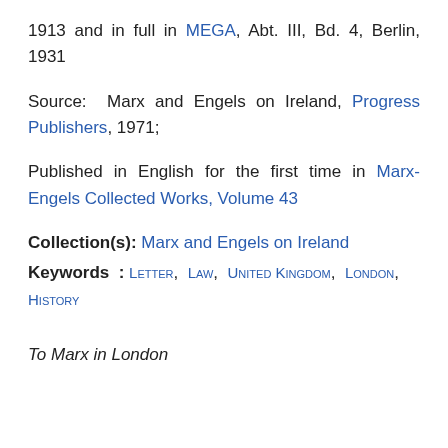1913 and in full in MEGA, Abt. III, Bd. 4, Berlin, 1931
Source: Marx and Engels on Ireland, Progress Publishers, 1971;
Published in English for the first time in Marx-Engels Collected Works, Volume 43
Collection(s): Marx and Engels on Ireland
Keywords : Letter, Law, United Kingdom, London, History
To Marx in London